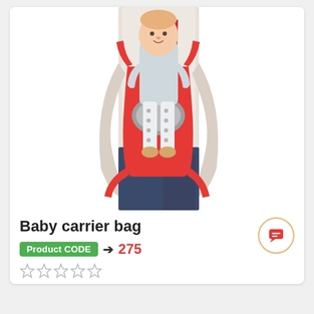[Figure (photo): A parent carrying a baby in a red baby carrier bag. The baby is wearing a light grey outfit with patterned pants. The carrier is red with grey padding.]
Baby carrier bag
Product CODE → 275
[Figure (other): Five empty star rating icons (0 out of 5 stars)]